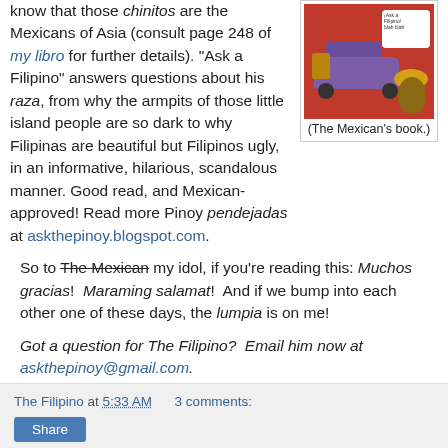know that those chinitos are the Mexicans of Asia (consult page 248 of my libro for further details). "Ask a Filipino" answers questions about his raza, from why the armpits of those little island people are so dark to why Filipinas are beautiful but Filipinos ugly, in an informative, hilarious, scandalous manner. Good read, and Mexican-approved! Read more Pinoy pendejadas at askthepinoy.blogspot.com.
[Figure (illustration): Book cover with red background, purple lowrider car, speech bubble, chicken/feathers, and a can. Caption reads: (The Mexican's book.)]
So to The Mexican my idol, if you're reading this: Muchos gracias!  Maraming salamat!  And if we bump into each other one of these days, the lumpia is on me!
Got a question for The Filipino?  Email him now at askthepinoy@gmail.com.
The Filipino at 5:33 AM   3 comments:   Share